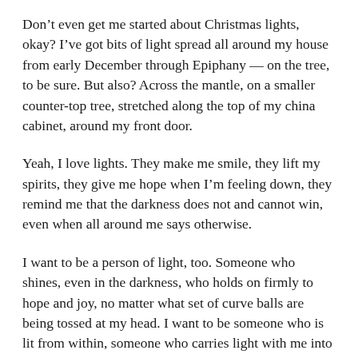Don't even get me started about Christmas lights, okay? I've got bits of light spread all around my house from early December through Epiphany — on the tree, to be sure. But also? Across the mantle, on a smaller countertop tree, stretched along the top of my china cabinet, around my front door.
Yeah, I love lights. They make me smile, they lift my spirits, they give me hope when I'm feeling down, they remind me that the darkness does not and cannot win, even when all around me says otherwise.
I want to be a person of light, too. Someone who shines, even in the darkness, who holds on firmly to hope and joy, no matter what set of curve balls are being tossed at my head. I want to be someone who is lit from within, someone who carries light with me into every dark and difficult place life's journey brings my way.
Sometimes I succeed. Sometimes, not so much. I wrote but even the best be started I sometimes think that I...